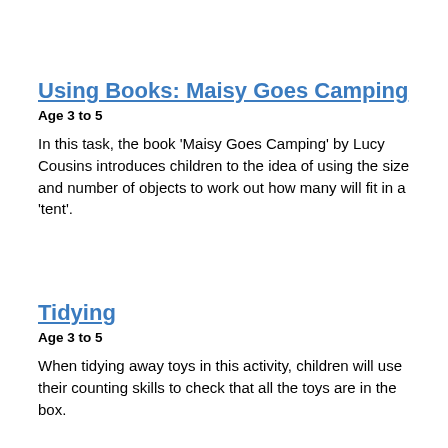Using Books: Maisy Goes Camping
Age 3 to 5
In this task, the book 'Maisy Goes Camping' by Lucy Cousins introduces children to the idea of using the size and number of objects to work out how many will fit in a 'tent'.
Tidying
Age 3 to 5
When tidying away toys in this activity, children will use their counting skills to check that all the toys are in the box.